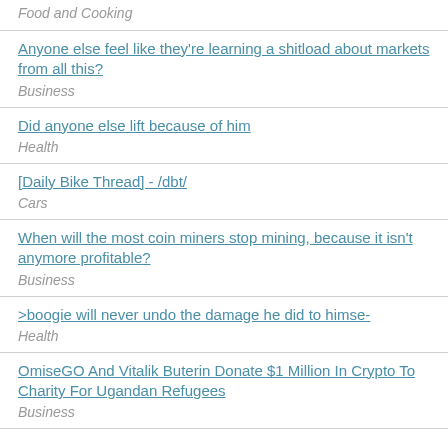Food and Cooking
Anyone else feel like they're learning a shitload about markets from all this?
Business
Did anyone else lift because of him
Health
[Daily Bike Thread] - /dbt/
Cars
When will the most coin miners stop mining, because it isn't anymore profitable?
Business
>boogie will never undo the damage he did to himse-
Health
OmiseGO And Vitalik Buterin Donate $1 Million In Crypto To Charity For Ugandan Refugees
Business